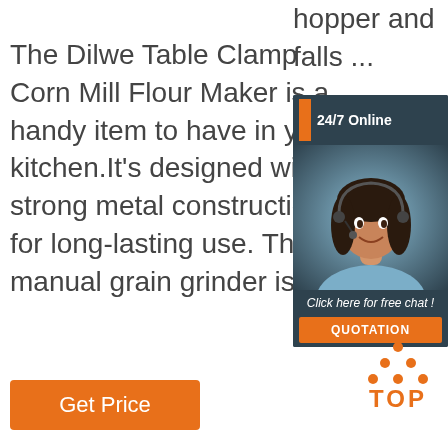The Dilwe Table Clamp Corn Mill Flour Maker is a handy item to have in your kitchen.It's designed with a strong metal construction for long-lasting use. This manual grain grinder is ...
hopper and falls ...
[Figure (infographic): 24/7 Online chat box with a woman wearing a headset, 'Click here for free chat!' text and QUOTATION button]
Get Price
[Figure (logo): TOP logo with orange dots arranged in triangle above the text TOP in orange]